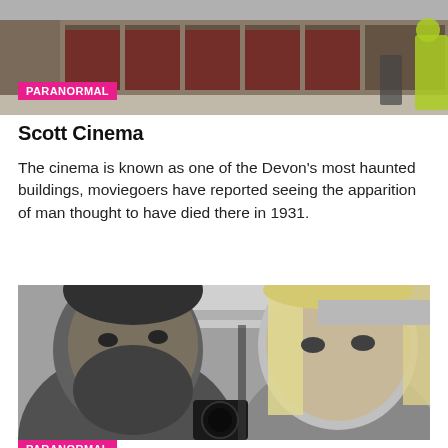[Figure (photo): Outdoor photo of a building exterior with people walking, partially visible, color-tinted image.]
PARANORMAL
Scott Cinema
The cinema is known as one of the Devon's most haunted buildings, moviegoers have reported seeing the apparition of man thought to have died there in 1931.
[Figure (photo): Black and white close-up photo of a bearded man on the left and a blonde woman on the right, taken from a low angle inside a building.]